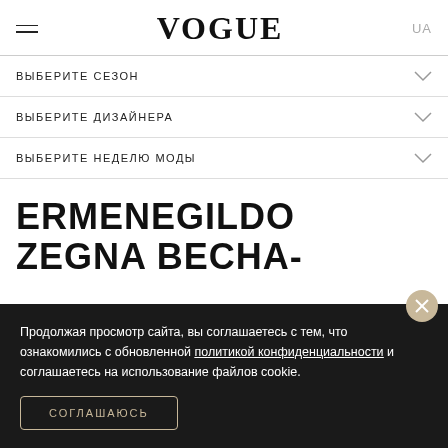VOGUE UA
ВЫБЕРИТЕ СЕЗОН
ВЫБЕРИТЕ ДИЗАЙНЕРА
ВЫБЕРИТЕ НЕДЕЛЮ МОДЫ
ERMENEGILDO ZEGNA ВЕСНА-
Продолжая просмотр сайта, вы соглашаетесь с тем, что ознакомились с обновленной политикой конфиденциальности и соглашаетесь на использование файлов cookie.
СОГЛАШАЮСЬ